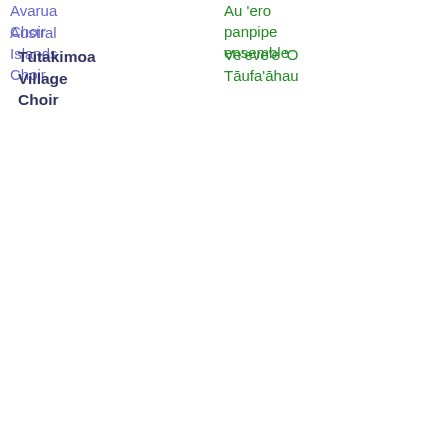Avarua Choir
Austral Islands Choir
Tūtakimoa Village Choir
Au 'ero panpipe ensemble
Ve'eve'e 'O Tāufa'āhau